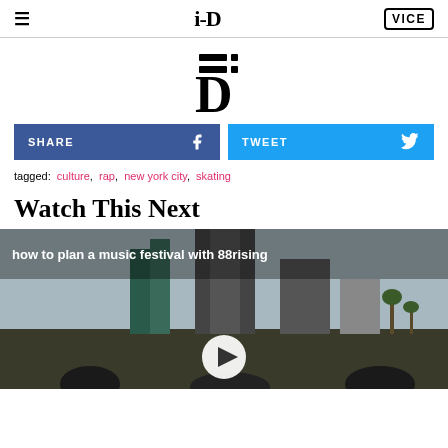i-D | VICE
[Figure (logo): i-D magazine large center logo]
SHARE | TWEET
tagged: culture, rap, new york city, skating
Watch This Next
[Figure (screenshot): Video thumbnail showing city skyline with text overlay 'how to plan a music festival with 88rising' and a play button]